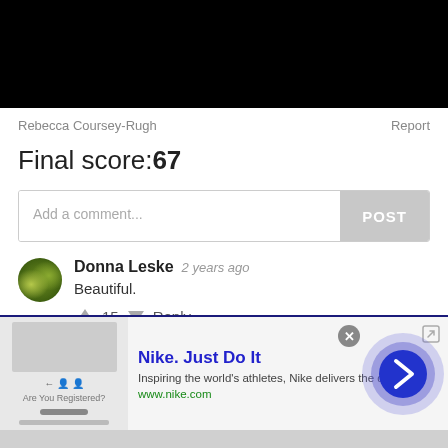Rebecca Coursey-Rugh
Report
Final score:67
Add a comment...
POST
Donna Leske  2 years ago
Beautiful.
15   Reply
View More Replies...
View more comments >
[Figure (screenshot): Nike advertisement banner showing Nike logo placeholder image, text 'Nike. Just Do It', 'Inspiring the world's athletes, Nike delivers the deals', 'www.nike.com', with a close button (X), an external link icon, and a blue circular arrow button on the right.]